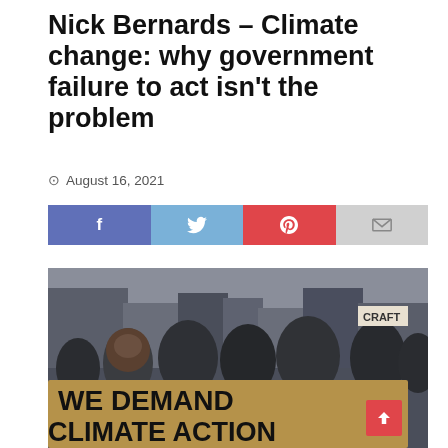Nick Bernards – Climate change: why government failure to act isn't the problem
August 16, 2021
[Figure (infographic): Social sharing bar with Facebook (blue), Twitter (light blue), Pinterest (red), and Email (grey) buttons]
[Figure (photo): Crowd of protesters in a city street holding a large banner reading 'WE DEMAND CLIMATE ACTION']